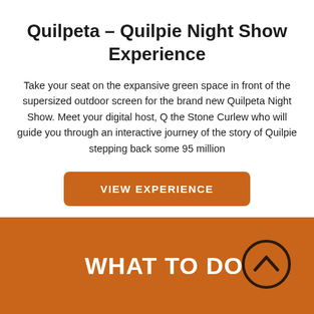Quilpeta – Quilpie Night Show Experience
Take your seat on the expansive green space in front of the supersized outdoor screen for the brand new Quilpeta Night Show. Meet your digital host, Q the Stone Curlew who will guide you through an interactive journey of the story of Quilpie stepping back some 95 million
VIEW EXPERIENCE
WHAT TO DO